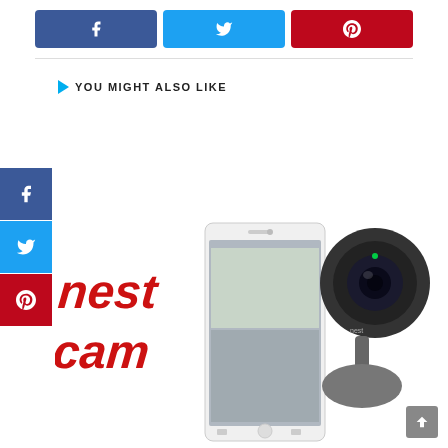[Figure (infographic): Social share buttons row: Facebook (blue), Twitter (light blue), Pinterest (red)]
YOU MIGHT ALSO LIKE
[Figure (photo): Nest Cam product image showing the Nest Cam security camera device, a smartphone with the Nest app interface, and the Nest Cam text logo in red italic letters]
[Figure (infographic): Vertical sidebar with Facebook, Twitter, and Pinterest icon buttons stacked]